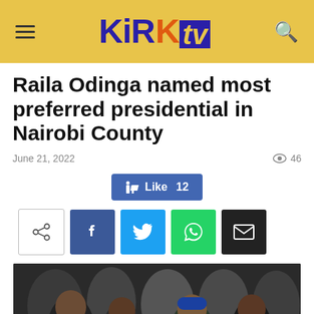KiRK TV
Raila Odinga named most preferred presidential in Nairobi County
June 21, 2022  👁 46
Like 12
Share buttons: Facebook, Twitter, WhatsApp, Email
[Figure (photo): Group photo of several people smiling, including a man in a suit and tie, a woman in a blue cap, and others in a crowded outdoor setting]